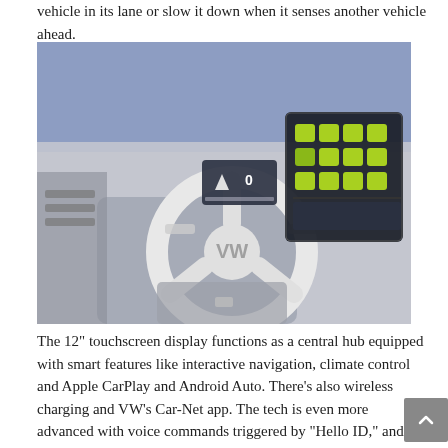vehicle in its lane or slow it down when it senses another vehicle ahead.
[Figure (photo): Interior photo of a Volkswagen ID.4 showing the white steering wheel with VW logo, a small digital instrument cluster display, and a large 12-inch infotainment touchscreen with green app icons on a dark background. The interior is light-colored with a modern minimalist design.]
The 12" touchscreen display functions as a central hub equipped with smart features like interactive navigation, climate control and Apple CarPlay and Android Auto. There's also wireless charging and VW's Car-Net app. The tech is even more advanced with voice commands triggered by "Hello ID," and most physical buttons have been replaced with responsive touch-sensitive controls. Motor Trend describes the infotainment system as "more...